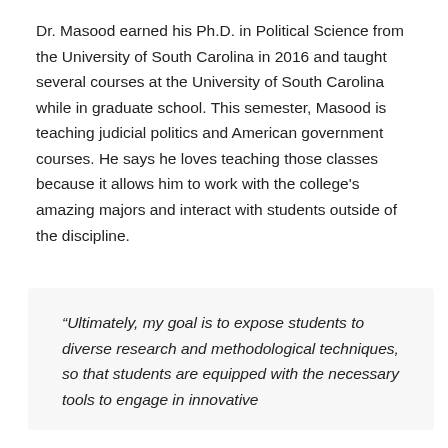Dr. Masood earned his Ph.D. in Political Science from the University of South Carolina in 2016 and taught several courses at the University of South Carolina while in graduate school. This semester, Masood is teaching judicial politics and American government courses. He says he loves teaching those classes because it allows him to work with the college's amazing majors and interact with students outside of the discipline.
“Ultimately, my goal is to expose students to diverse research and methodological techniques, so that students are equipped with the necessary tools to engage in innovative